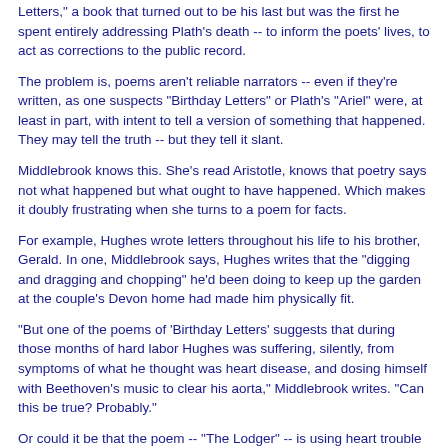Letters," a book that turned out to be his last but was the first he spent entirely addressing Plath's death -- to inform the poets' lives, to act as corrections to the public record.
The problem is, poems aren't reliable narrators -- even if they're written, as one suspects "Birthday Letters" or Plath's "Ariel" were, at least in part, with intent to tell a version of something that happened. They may tell the truth -- but they tell it slant.
Middlebrook knows this. She's read Aristotle, knows that poetry says not what happened but what ought to have happened. Which makes it doubly frustrating when she turns to a poem for facts.
For example, Hughes wrote letters throughout his life to his brother, Gerald. In one, Middlebrook says, Hughes writes that the "digging and dragging and chopping" he'd been doing to keep up the garden at the couple's Devon home had made him physically fit.
"But one of the poems of 'Birthday Letters' suggests that during those months of hard labor Hughes was suffering, silently, from symptoms of what he thought was heart disease, and dosing himself with Beethoven's music to clear his aorta," Middlebrook writes. "Can this be true? Probably."
Or could it be that the poem -- "The Lodger" -- is using heart trouble as an unsubtle metaphor? More probably. And if it is not, and it's meant to be read primarily as autobiography, then I'm with X.J. Kennedy: "To hell with poetry that has no more interest than the mere miserable prose meaning of it."
Near the end of "Her Husband," Middlebrook discusses how Hughes